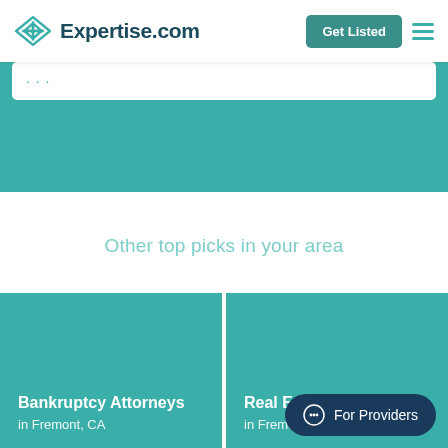Expertise.com — Get Listed
Other top picks in your area
Bankruptcy Attorneys in Fremont, CA
Real Estate Attorneys in Fremont, CA
For Providers